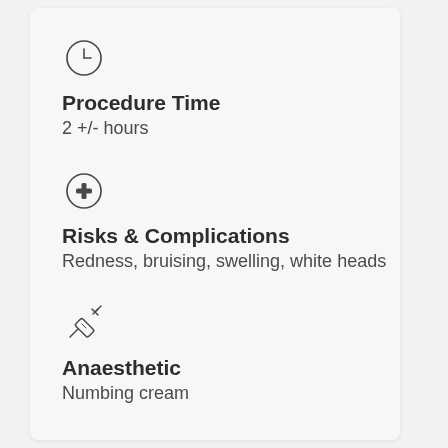[Figure (illustration): Clock icon (circle with clock hands)]
Procedure Time
2 +/- hours
[Figure (illustration): Medical cross/plus icon in a circle]
Risks & Complications
Redness, bruising, swelling, white heads
[Figure (illustration): Syringe/needle icon]
Anaesthetic
Numbing cream
[Figure (illustration): Calendar icon]
Treatment Plan
2+ sessions